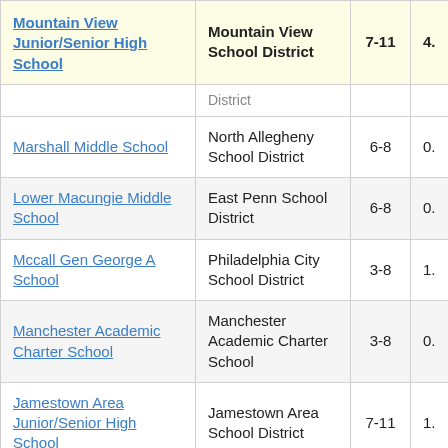| School | District | Grades |  |
| --- | --- | --- | --- |
| Mountain View Junior/Senior High School | Mountain View School District | 7-11 | 4. |
|  | District |  |  |
| Marshall Middle School | North Allegheny School District | 6-8 | 0. |
| Lower Macungie Middle School | East Penn School District | 6-8 | 0. |
| Mccall Gen George A School | Philadelphia City School District | 3-8 | 1. |
| Manchester Academic Charter School | Manchester Academic Charter School | 3-8 | 0. |
| Jamestown Area Junior/Senior High School | Jamestown Area School District | 7-11 | 1. |
| Global Leadership Academy Charter | Global Leadership Academy Charter |  |  |